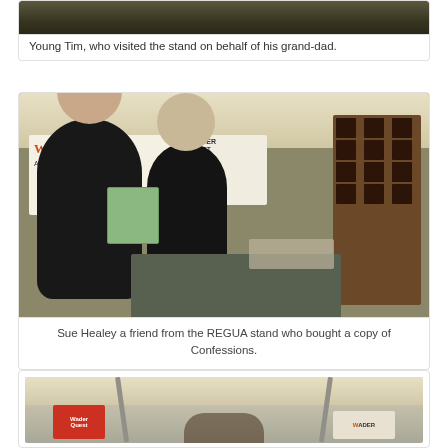[Figure (photo): Top portion showing young Tim's feet/shoes on grass, visiting the stand on behalf of his grand-dad]
Young Tim, who visited the stand on behalf of his grand-dad.
[Figure (photo): Sue Healey and a man standing at the REGUA WaderQuest stand inside a marquee tent, holding a copy of Confessions book. WaderQuest banner and Ambassador sign visible in background with display boards.]
Sue Healey a friend from the REGUA stand who bought a copy of Confessions.
[Figure (photo): Interior of a marquee/tent showing the WaderQuest stand with arch support poles visible from below, red sign and WaderQuest banner visible, people partially visible at bottom]